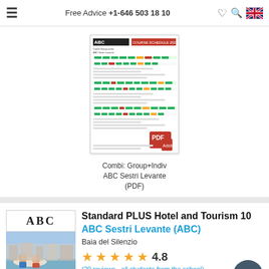Free Advice +1-646 503 18 10
[Figure (screenshot): Thumbnail of ABC Sestri Levante course schedule PDF document showing Combi Group+Individual pricing table]
Combi: Group+Indiv ABC Sestri Levante (PDF)
Standard PLUS Hotel and Tourism 10
ABC Sestri Levante (ABC)
Baia del Silenzio
4.8
(29 reviews - all students from the school)
Show on map | School Size: M